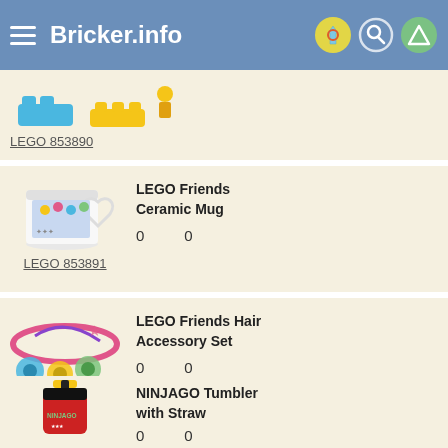Bricker.info
LEGO 853890
LEGO Friends Ceramic Mug  0  0
LEGO 853891
LEGO Friends Hair Accessory Set  0  0
LEGO 853892
NINJAGO Tumbler with Straw  0  0
LEGO 853901